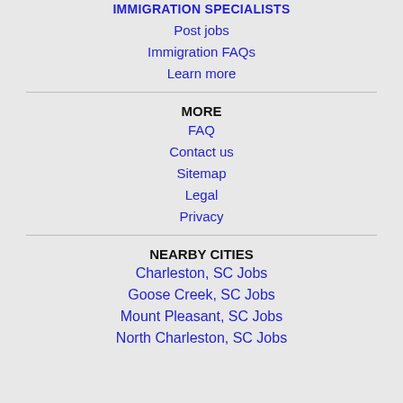IMMIGRATION SPECIALISTS
Post jobs
Immigration FAQs
Learn more
MORE
FAQ
Contact us
Sitemap
Legal
Privacy
NEARBY CITIES
Charleston, SC Jobs
Goose Creek, SC Jobs
Mount Pleasant, SC Jobs
North Charleston, SC Jobs